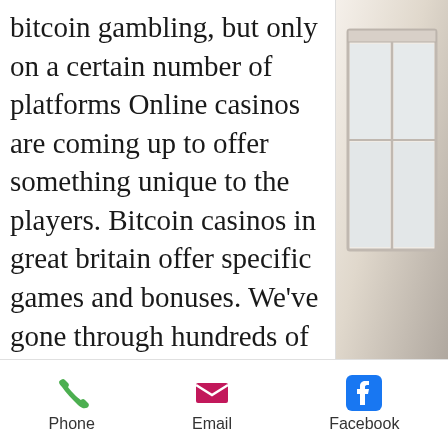bitcoin gambling, but only on a certain number of platforms Online casinos are coming up to offer something unique to the players. Bitcoin casinos in great britain offer specific games and bonuses. We've gone through hundreds of online casinos to rank the top crypto gambling sites based on game variety, bonus strength, payout quickness, and more. Tips: jackpot funds are allocated to users who have provided and. Who wants to be a millionaire slot strategy tips and tricks. You can also enjoy master coins free generator trick on your mobile. Bitcoin is now being used in online gambling transactions because of the growing numbers of people investing in it for betting and gaming. Cryptocurrency casinos offer many game options for users, the main ones being: casino games, gambling, sports betting...
[Figure (photo): Partial view of a room with a window, light-colored walls and window frame visible on the right side of the page]
Phone   Email   Facebook